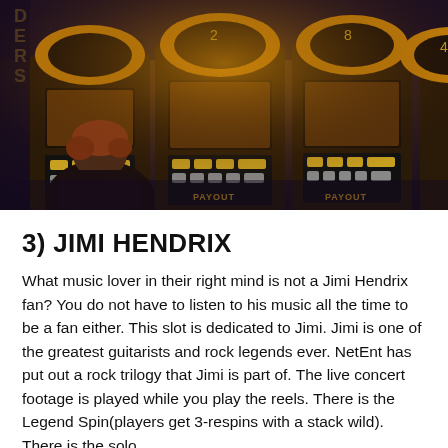[Figure (photo): Dark photograph of a person (seen from behind, with reddish hair) sitting at a row of slot machines in a casino. The slot machines have golden/amber arched tops and illuminated control panels. The overall color tone is dark with warm amber and gold hues. The word 'PAYOUT' appears on two of the machines.]
3) JIMI HENDRIX
What music lover in their right mind is not a Jimi Hendrix fan? You do not have to listen to his music all the time to be a fan either. This slot is dedicated to Jimi. Jimi is one of the greatest guitarists and rock legends ever. NetEnt has put out a rock trilogy that Jimi is part of. The live concert footage is played while you play the reels. There is the Legend Spin(players get 3-respins with a stack wild). There is the solo